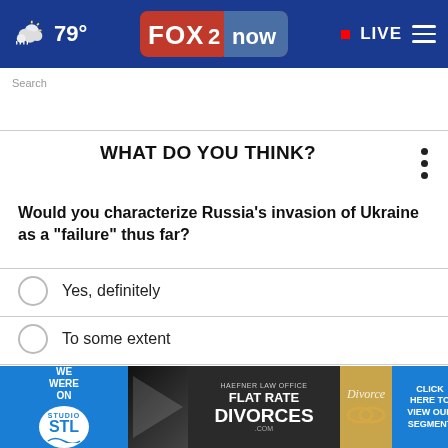FOX 2 now | 79° | LIVE
Search
WHAT DO YOU THINK?
Would you characterize Russia's invasion of Ukraine as a "failure" thus far?
Yes, definitely
To some extent
No, definitely not
[Figure (other): Advertisement banner: Studio STL / Haefner Law Office Flat Rate Divorces]
CLICK HERE TO VIEW OUR SEGMENT